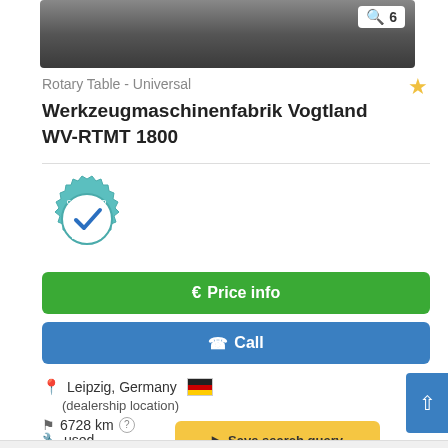[Figure (photo): Top portion of a rotary table machine, partially visible, dark metallic appearance. Shows '6' photo count indicator.]
Rotary Table - Universal
Werkzeugmaschinenfabrik Vogtland WV-RTMT 1800
[Figure (logo): Certified Dealer badge — teal gear icon with blue checkmark and text CERTIFIED DEALER]
€ Price info
✆ Call
Leipzig, Germany (dealership location)
6728 km
used
Save search query